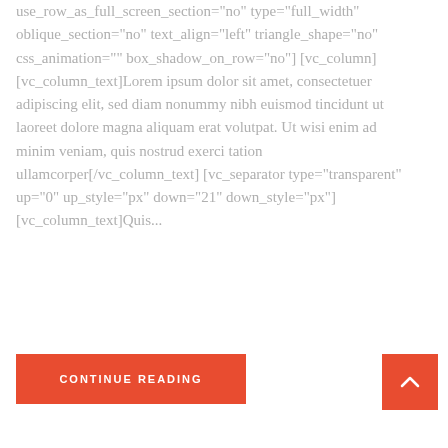use_row_as_full_screen_section="no" type="full_width" oblique_section="no" text_align="left" triangle_shape="no" css_animation="" box_shadow_on_row="no"][vc_column][vc_column_text]Lorem ipsum dolor sit amet, consectetuer adipiscing elit, sed diam nonummy nibh euismod tincidunt ut laoreet dolore magna aliquam erat volutpat. Ut wisi enim ad minim veniam, quis nostrud exerci tation ullamcorper[/vc_column_text][vc_separator type="transparent" up="0" up_style="px" down="21" down_style="px"][vc_column_text]Quis...
CONTINUE READING